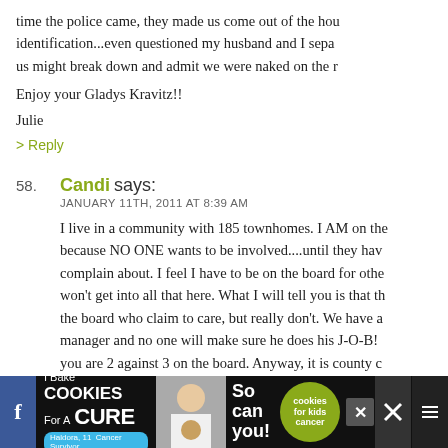time the police came, they made us come out of the house for identification...even questioned my husband and I separately hoping us might break down and admit we were naked on the r
Enjoy your Gladys Kravitz!!
Julie
> Reply
58. Candi says: JANUARY 11TH, 2011 AT 8:39 AM
I live in a community with 185 townhomes. I AM on the because NO ONE wants to be involved....until they hav complain about. I feel I have to be on the board for othe won't get into all that here. What I will tell you is that th the board who claim to care, but really don't. We have a manager and no one will make sure he does his J-O-B! you are 2 against 3 on the board. Anyway, it is county c HOA handbook that all trash must be placed into a tras
[Figure (screenshot): Advertisement banner for Cookies for a Cure with woman holding cookies, green circle logo, close button and social media icons]